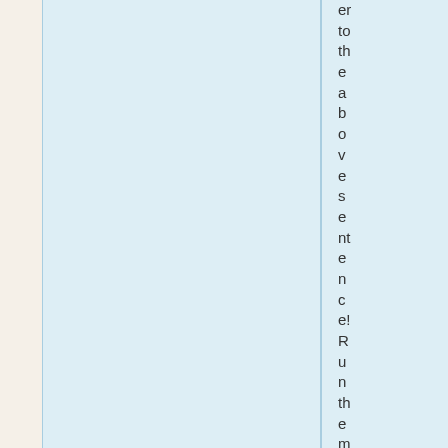er to the above sentence! Run the math on the lifetime